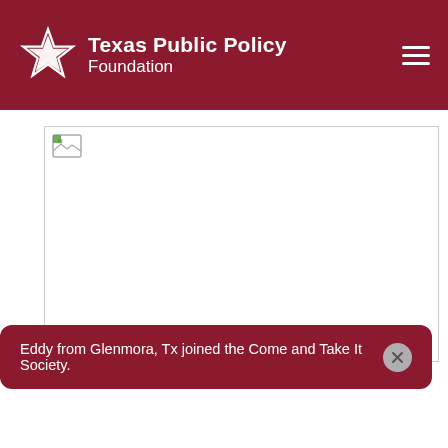Texas Public Policy Foundation
[Figure (photo): Broken image placeholder within a bordered rectangle area]
Eddy from Glenmora, Tx joined the Come and Take It Society.